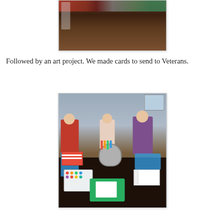[Figure (photo): Photo of children at a dark wood floor, partial view from above showing children playing or doing an activity, with colorful bowls visible]
Followed by an art project. We made cards to send to Veterans.
[Figure (photo): Three children sitting around a dark dining table doing an art project, making cards to send to Veterans. Art supplies including crayons, watercolors, paper, a green tray, and other craft materials spread on the table. Indoor home setting.]